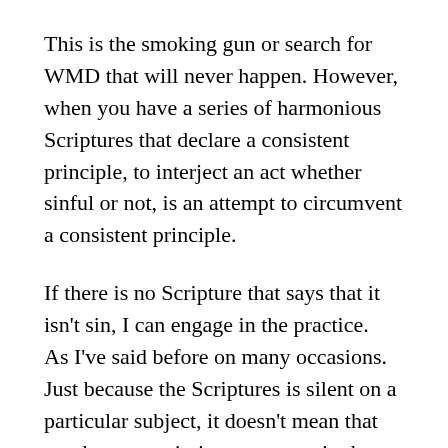This is the smoking gun or search for WMD that will never happen. However, when you have a series of harmonious Scriptures that declare a consistent principle, to interject an act whether sinful or not, is an attempt to circumvent a consistent principle.
If there is no Scripture that says that it isn't sin, I can engage in the practice. As I've said before on many occasions. Just because the Scriptures is silent on a particular subject, it doesn't mean that you have permission to engage in the act.
The one other side that must be shared is that again, too many people condemn themselves